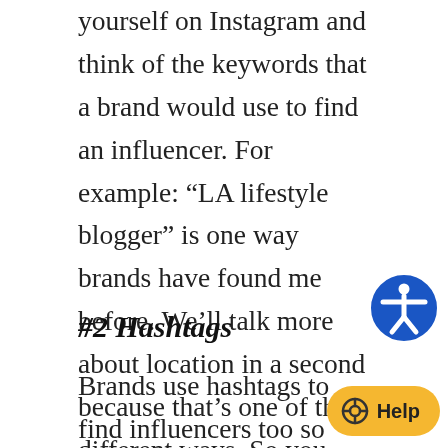yourself on Instagram and think of the keywords that a brand would use to find an influencer. For example: “LA lifestyle blogger” is one way brands have found me before. We’ll talk more about location in a second because that’s one of the different ways. So you gotta do some brainstorming and research on how brands can find you.
#2 Hashtags
Brands use hashtags to find influencers too so make sure you’re using hashtags that a brand would use to find you. This is the same as the keywords you put